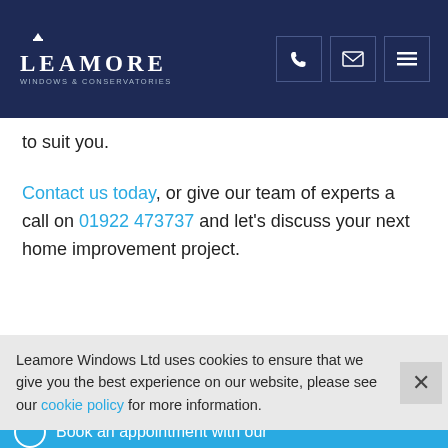LEAMORE WINDOWS & CONSERVATORIES
to suit you.
Contact us today, or give our team of experts a call on 01922 473737 and let's discuss your next home improvement project.
Book an appointment
Book an appointment with our
Leamore Windows Ltd uses cookies to ensure that we give you the best experience on our website, please see our cookie policy for more information.